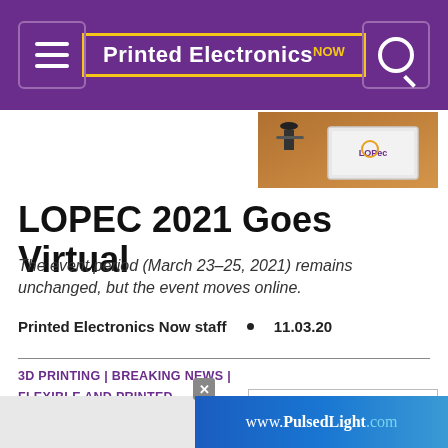Printed Electronics NOW
[Figure (photo): Person at podium speaking at a conference, LOPEC logo visible on screen behind them]
LOPEC 2021 Goes Virtual
The event period (March 23–25, 2021) remains unchanged, but the event moves online.
Printed Electronics Now staff  •  11.03.20
3D PRINTING | BREAKING NEWS | FLEXIBLE AND PRINTED ELECTRONICS | MANUFACTURING
[Figure (logo): OPTOMEC logo with tagline: Additive Manufacturing Systems — from Nano to MICKEY]
[Figure (screenshot): Advertisement banner for www.PulsedLight.com on a blue gradient background]